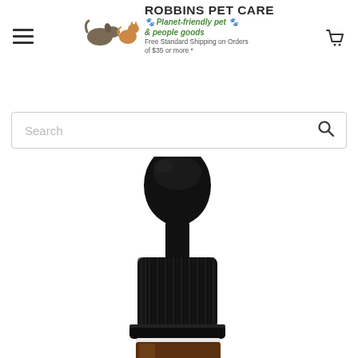ROBBINS PET CARE - Planet-friendly pet & people goods - Free Standard Shipping on Orders of $35 or more *
[Figure (screenshot): Search bar with placeholder text 'Search' and a magnifying glass icon on the right]
[Figure (photo): Close-up photo of a black dropper bottle cap/top with rubber bulb on white background, dropper bottle for pet care product]